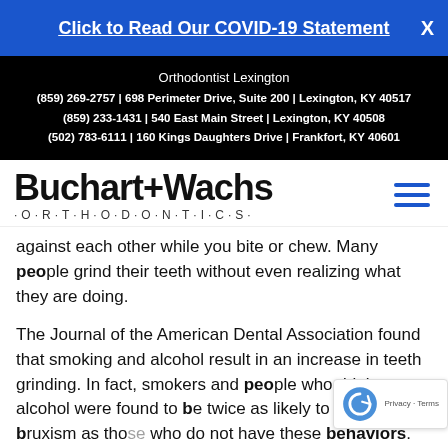Click to Read Our COVID-19 Statement  X
Orthodontist Lexington
(859) 269-2757 | 698 Perimeter Drive, Suite 200 | Lexington, KY 40517
(859) 233-1431 | 540 East Main Street | Lexington, KY 40508
(502) 783-6111 | 160 Kings Daughters Drive | Frankfort, KY 40601
[Figure (logo): Buchart+Wachs Orthodontics logo with hamburger menu icon]
against each other while you bite or chew. Many people grind their teeth without even realizing what they are doing.
The Journal of the American Dental Association found that smoking and alcohol result in an increase in teeth grinding. In fact, smokers and people who drink alcohol were found to be twice as likely to experience bruxism as those who do not have these behaviors.